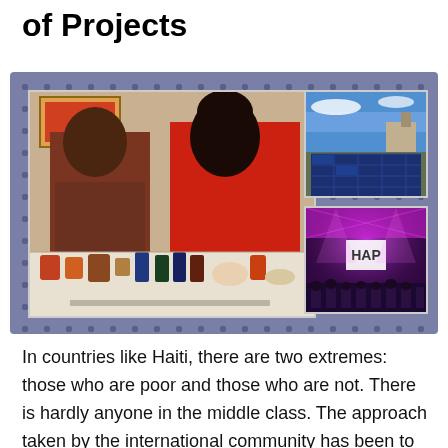of Projects
[Figure (photo): Collage of three photos on a purple polka-dot background: a main photo of a man and woman posing with natural product bottles and jars on a table; a top-right photo of solar panels on a rooftop with blue sky; a bottom-right photo of an event stage with pink/purple lighting and audience.]
In countries like Haiti, there are two extremes: those who are poor and those who are not. There is hardly anyone in the middle class. The approach taken by the international community has been to focus on helping those who are poorest. After decades of following this approach, we see the results. The needle has barely budged. In the last 20